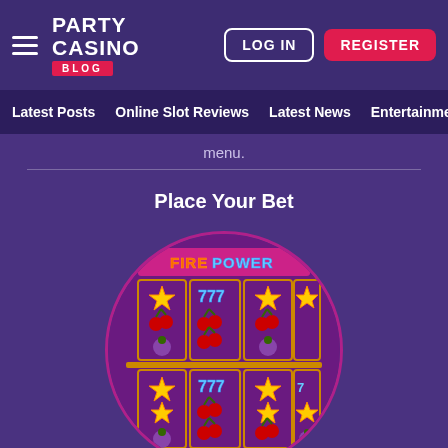Party Casino Blog — LOG IN | REGISTER
Latest Posts | Online Slot Reviews | Latest News | Entertainment | Ta...
menu.
Place Your Bet
[Figure (screenshot): Circular cropped screenshot of a slot machine game called 'Fire Power' showing a grid of slot reels with gold stars, red cherries, 777 symbols, and plums on purple reel columns with gold borders. Bottom shows $1,000.00 BALANCE and WIN bar.]